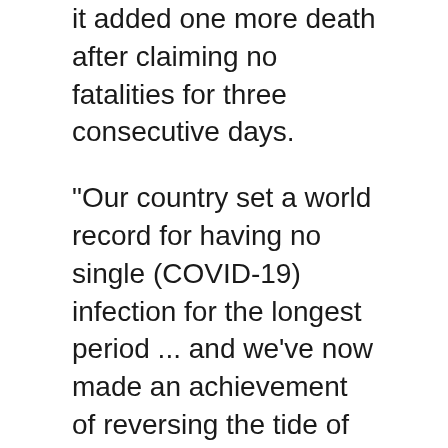it added one more death after claiming no fatalities for three consecutive days.
"Our country set a world record for having no single (COVID-19) infection for the longest period ... and we've now made an achievement of reversing the tide of the abrupt outbreak in a short period," the main Rodong Sinmun newspaper said Thursday. "This evidently proves the scientific nature of our country's emergency anti-epidemic steps."
Medical experts question the validity of North Korea's stated fatality rate of 0.002%. Given that South Korea's mortality rate of unvaccinated people for the Omicron variant was 0.6%, North Korea must have similar or higher death rates because of its low capacity